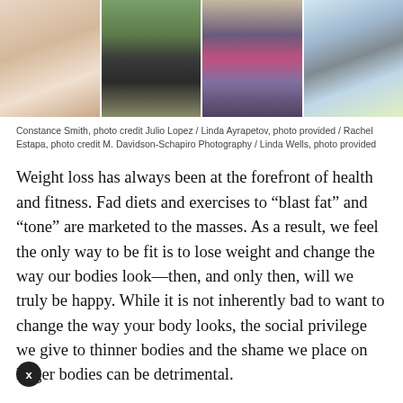[Figure (photo): Four panel photo strip showing women in various poses: first panel shows a woman seated on floor in white outfit, second shows a woman standing outdoors barefoot in black pants, third shows a woman seated cross-legged on a yoga mat holding a pink mat, fourth shows a woman reclining on colorful bedding.]
Constance Smith, photo credit Julio Lopez / Linda Ayrapetov, photo provided / Rachel Estapa, photo credit M. Davidson-Schapiro Photography / Linda Wells, photo provided
Weight loss has always been at the forefront of health and fitness. Fad diets and exercises to “blast fat” and “tone” are marketed to the masses. As a result, we feel the only way to be fit is to lose weight and change the way our bodies look—then, and only then, will we truly be happy. While it is not inherently bad to want to change the way your body looks, the social privilege we give to thinner bodies and the shame we place on larger bodies can be detrimental.